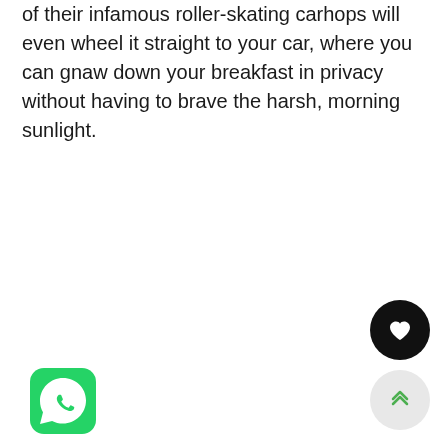of their infamous roller-skating carhops will even wheel it straight to your car, where you can gnaw down your breakfast in privacy without having to brave the harsh, morning sunlight.
[Figure (logo): WhatsApp logo — green rounded square with white phone/chat icon]
[Figure (other): Black circular button with white heart icon]
[Figure (other): Light gray circular button with green double-chevron up arrow]